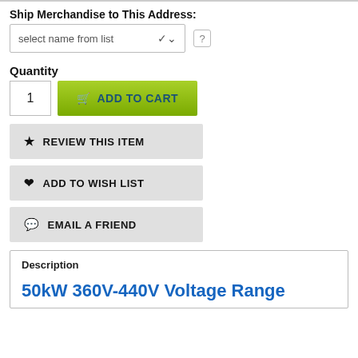Ship Merchandise to This Address:
select name from list
Quantity
1
ADD TO CART
REVIEW THIS ITEM
ADD TO WISH LIST
EMAIL A FRIEND
Description
50kW 360V-440V Voltage Range